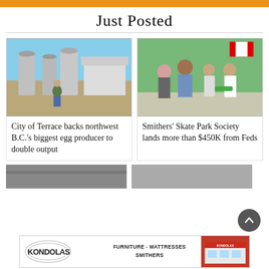Just Posted
[Figure (photo): Woman standing in front of grain silos and farm buildings holding a chicken]
City of Terrace backs northwest B.C.'s biggest egg producer to double output
[Figure (photo): Group of four people standing together outdoors, one holding a green skateboard, Canadian flag in background]
Smithers' Skate Park Society lands more than $450K from Feds
[Figure (photo): Partial view of a bottom article image, cropped]
[Figure (photo): Partial view of a bottom article image, cropped]
[Figure (logo): Kondolas Furniture advertisement banner — Kondolas logo on left, text 'FURNITURE - MATTRESSES SMITHERS' in center, red storefront building on right]